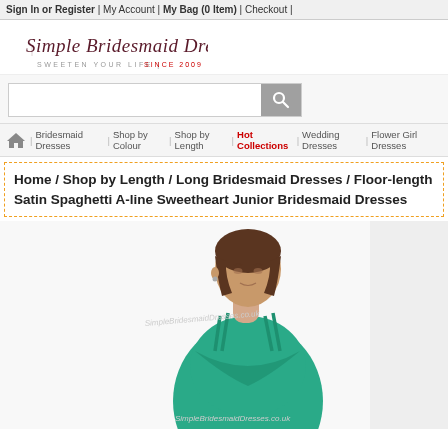Sign In or Register | My Account | My Bag (0 Item) | Checkout |
[Figure (logo): Simple Bridesmaid Dresses logo with script text and tagline SWEETEN YOUR LIFE | SINCE 2009]
[Figure (screenshot): Search input box with magnifying glass button]
| Bridesmaid Dresses | Shop by Colour | Shop by Length | Hot Collections | Wedding Dresses | Flower Girl Dresses
Home / Shop by Length / Long Bridesmaid Dresses / Floor-length Satin Spaghetti A-line Sweetheart Junior Bridesmaid Dresses
[Figure (photo): Young woman wearing a teal/green floor-length satin spaghetti strap A-line sweetheart junior bridesmaid dress, shown from waist up]